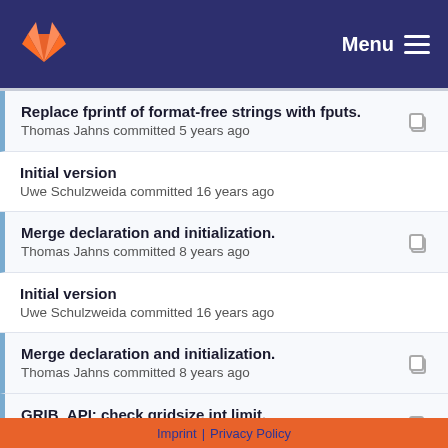GitLab — Menu
Replace fprintf of format-free strings with fputs.
Thomas Jahns committed 5 years ago
Initial version
Uwe Schulzweida committed 16 years ago
Merge declaration and initialization.
Thomas Jahns committed 8 years ago
Initial version
Uwe Schulzweida committed 16 years ago
Merge declaration and initialization.
Thomas Jahns committed 8 years ago
GRIB_API: check gridsize int limit.
Uwe Schulzweida committed 5 years ago
Initial version
Imprint | Privacy Policy